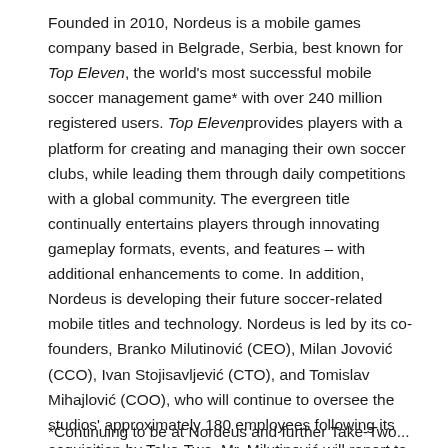Founded in 2010, Nordeus is a mobile games company based in Belgrade, Serbia, best known for Top Eleven, the world's most successful mobile soccer management game* with over 240 million registered users. Top Elevenprovides players with a platform for creating and managing their own soccer clubs, while leading them through daily competitions with a global community. The evergreen title continually entertains players through innovating gameplay formats, events, and features – with additional enhancements to come. In addition, Nordeus is developing their future soccer-related mobile titles and technology. Nordeus is led by its co-founders, Branko Milutinović (CEO), Milan Jovović (CCO), Ivan Stojisavljević (CTO), and Tomislav Mihajlović (COO), who will continue to oversee the studios' approximately 180 employees following its acquisition by Take-Two. Mr. Milutinović will report to Mr. Efrat.
*Continuing to be at Nordeus and further Take-Two...